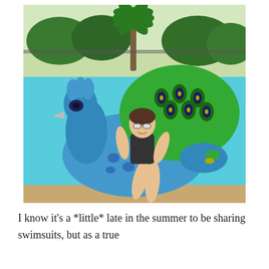[Figure (photo): A woman in a striped bikini and sunglasses sitting on a large inflatable peacock pool float in a bright blue swimming pool. The inflatable peacock is blue with a colorful green and yellow fan tail spread out behind. In the background there are palm trees, hedges, and a fence surrounding the pool area.]
I know it's a *little* late in the summer to be sharing swimsuits, but as a true